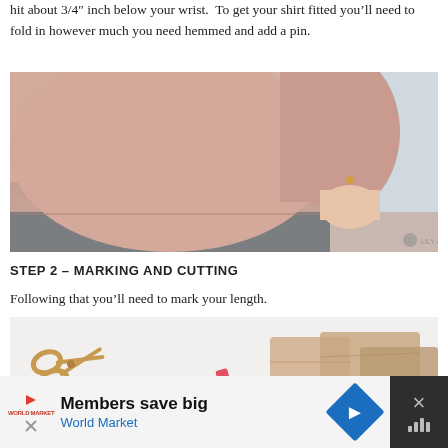hit about 3/4" inch below your wrist.  To get your shirt fitted you'll need to fold in however much you need hemmed and add a pin.
[Figure (photo): Close-up photo of a person wearing a pink/blush long-sleeve shirt with the sleeve folded near the wrist, showing the hem area against a grey pant leg and light blue background. A small pin is visible. Watermark 'LILY ARDOR' in bottom right.]
STEP 2 – MARKING AND CUTTING
Following that you'll need to mark your length.
[Figure (photo): Photo showing sewing supplies including gold/copper scissors, pink chalk or marking tools, and folded fabric in beige/blush tones laid out on a white surface.]
Members save big  World Market  [advertisement banner]